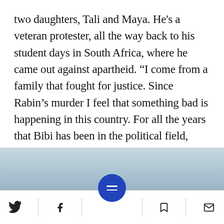two daughters, Tali and Maya. He's a veteran protester, all the way back to his student days in South Africa, where he came out against apartheid. “I come from a family that fought for justice. Since Rabin’s murder I feel that something bad is happening in this country. For all the years that Bibi has been in the political field, everything has been going in the direction of rot, hatred and corruption. The people are in a lousy place.”
[Figure (photo): Partial view of a photo with a light blue/teal gradient background, bottom portion visible. A dark horizontal bar separates the photo from the navigation bar below.]